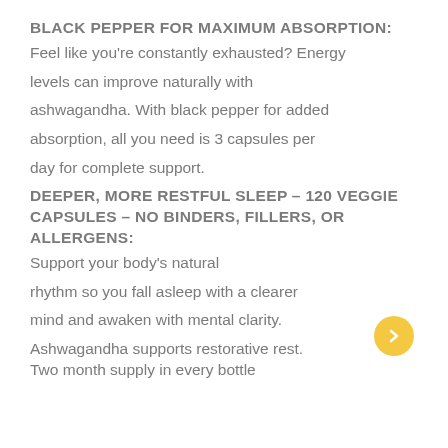BLACK PEPPER FOR MAXIMUM ABSORPTION:
Feel like you're constantly exhausted? Energy levels can improve naturally with ashwagandha. With black pepper for added absorption, all you need is 3 capsules per day for complete support.
DEEPER, MORE RESTFUL SLEEP – 120 VEGGIE CAPSULES – NO BINDERS, FILLERS, OR ALLERGENS:
Support your body's natural rhythm so you fall asleep with a clearer mind and awaken with mental clarity. Ashwagandha supports restorative rest. Two month supply in every bottle